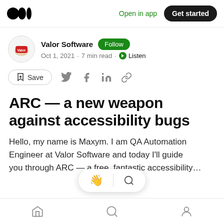Medium logo | Open in app | Get started
Valor Software · Follow · Oct 1, 2021 · 7 min read · Listen
Save (with share icons: Twitter, Facebook, LinkedIn, link)
ARC — a new weapon against accessibility bugs
Hello, my name is Maxym. I am QA Automation Engineer at Valor Software and today I'll guide
Home · Search · Profile (bottom nav icons)